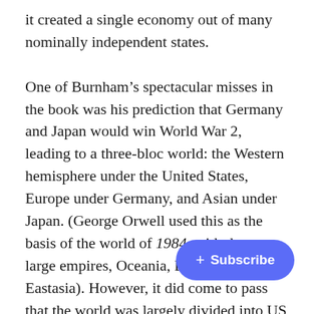it created a single economy out of many nominally independent states.

One of Burnham’s spectacular misses in the book was his prediction that Germany and Japan would win World War 2, leading to a three-bloc world: the Western hemisphere under the United States, Europe under Germany, and Asian under Japan. (George Orwell used this as the basis of the world of 1984, with three large empires, Oceania, Eurasia, and Eastasia). However, it did come to pass that the world was largely divided into US and Soviet blocs. Modern warfare requires mass mobilization and mass deployment of technology (via revolution in scale and speed). Small countries cannot maintain full sovere[ignty] in this environment. As political scientist D[avid Lake] noted, only the United States, China, and maybe Russia